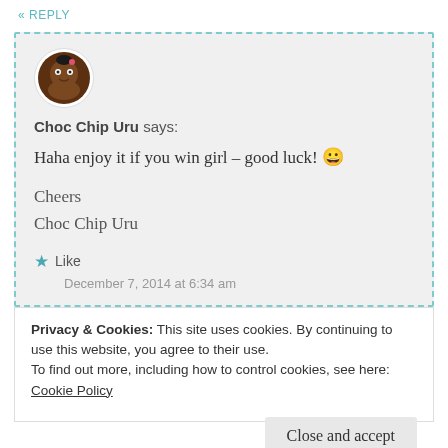« REPLY
Choc Chip Uru says:
Haha enjoy it if you win girl – good luck! 😀
Cheers
Choc Chip Uru
★ Like
December 7, 2014 at 6:34 am
Privacy & Cookies: This site uses cookies. By continuing to use this website, you agree to their use.
To find out more, including how to control cookies, see here:
Cookie Policy
Close and accept